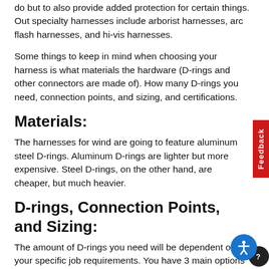do but to also provide added protection for certain things. Out specialty harnesses include arborist harnesses, arc flash harnesses, and hi-vis harnesses.
Some things to keep in mind when choosing your harness is what materials the hardware (D-rings and other connectors are made of). How many D-rings you need, connection points, and sizing, and certifications.
Materials:
The harnesses for wind are going to feature aluminum steel D-rings. Aluminum D-rings are lighter but more expensive. Steel D-rings, on the other hand, are cheaper, but much heavier.
D-rings, Connection Points, and Sizing:
The amount of D-rings you need will be dependent on your specific job requirements. You have 3 main options